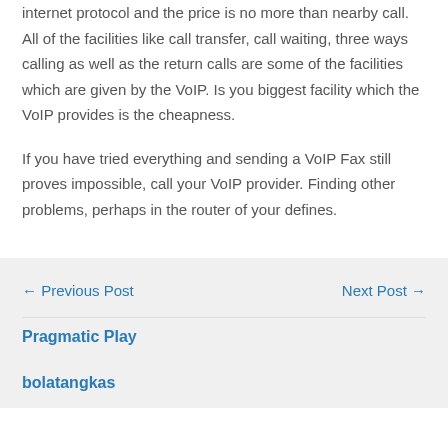internet protocol and the price is no more than nearby call. All of the facilities like call transfer, call waiting, three ways calling as well as the return calls are some of the facilities which are given by the VoIP. Is you biggest facility which the VoIP provides is the cheapness.
If you have tried everything and sending a VoIP Fax still proves impossible, call your VoIP provider. Finding other problems, perhaps in the router of your defines.
← Previous Post
Next Post →
Pragmatic Play
bolatangkas